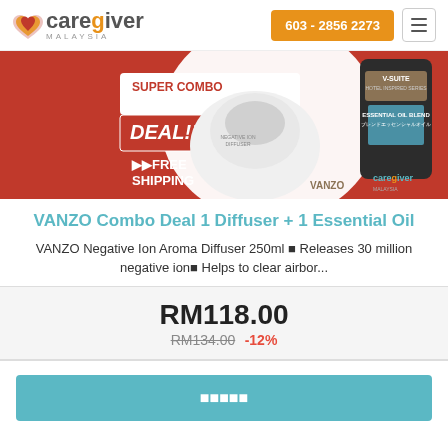[Figure (logo): Caregiver Malaysia logo with orange/red heart icon]
603 - 2856 2273
[Figure (photo): VANZO Super Combo Deal product banner showing diffuser and V-Suite essential oil blend with FREE SHIPPING label, red background]
VANZO Combo Deal 1 Diffuser + 1 Essential Oil
VANZO Negative Ion Aroma Diffuser 250ml ■ Releases 30 million negative ion■ Helps to clear airbor...
RM118.00
RM134.00 -12%
■■■■■